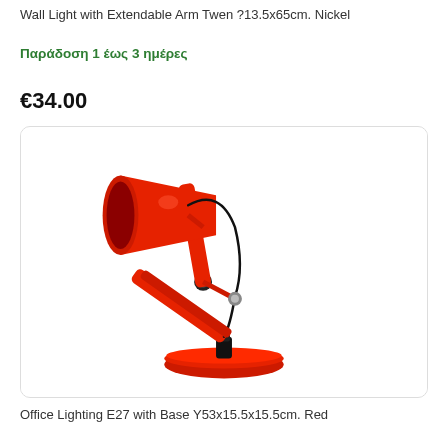Wall Light with Extendable Arm Twen ?13.5x65cm. Nickel
Παράδοση 1 έως 3 ημέρες
€34.00
[Figure (photo): Red adjustable desk lamp with extendable arm and round base]
Office Lighting E27 with Base Y53x15.5x15.5cm. Red